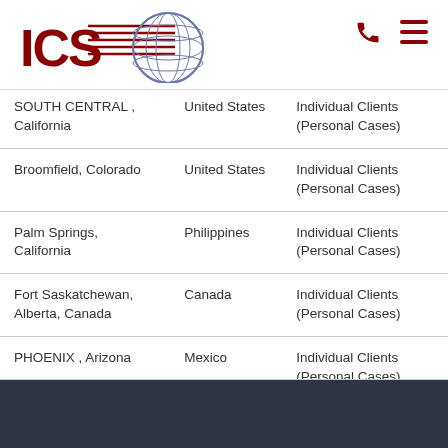[Figure (logo): ICS logo with globe graphic — red bold letters ICS with horizontal speed lines and a globe with latitude/longitude lines]
| SOUTH CENTRAL , California | United States | Individual Clients (Personal Cases) |
| Broomfield, Colorado | United States | Individual Clients (Personal Cases) |
| Palm Springs, California | Philippines | Individual Clients (Personal Cases) |
| Fort Saskatchewan, Alberta, Canada | Canada | Individual Clients (Personal Cases) |
| PHOENIX , Arizona | Mexico | Individual Clients (Personal Cases) |